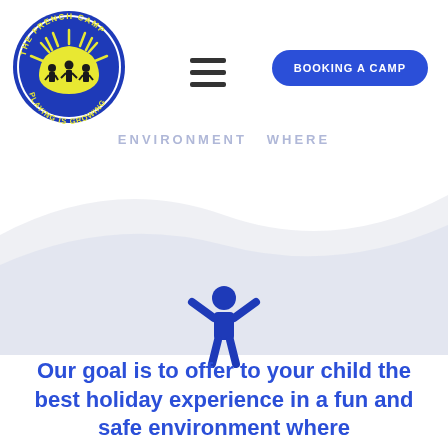[Figure (logo): The French Camp circular logo with blue border, yellow sun with rays, silhouettes of children, and text 'PLAYING IS GROWING']
[Figure (illustration): Hamburger/menu icon (three horizontal lines)]
[Figure (illustration): Blue rounded rectangle button with text BOOKING A CAMP]
ENVIRONMENT WHERE
[Figure (illustration): Gray wave hill background shape]
[Figure (illustration): Blue stick figure person with arms raised wide]
Our goal is to offer to your child the best holiday experience in a fun and safe environment where